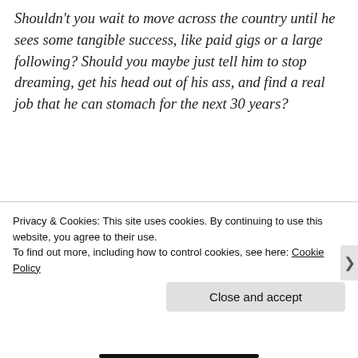Shouldn't you wait to move across the country until he sees some tangible success, like paid gigs or a large following? Should you maybe just tell him to stop dreaming, get his head out of his ass, and find a real job that he can stomach for the next 30 years?
Those are all good questions and I'll address them one by one.
Why can't your husband just pursue his
Privacy & Cookies: This site uses cookies. By continuing to use this website, you agree to their use.
To find out more, including how to control cookies, see here: Cookie Policy